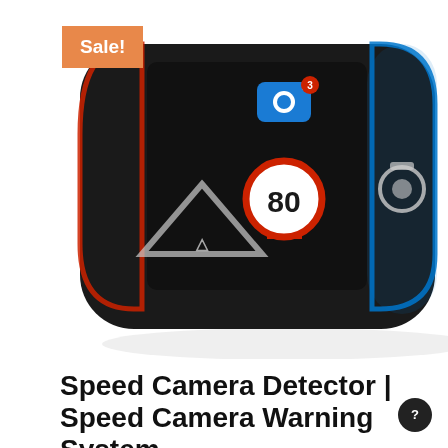[Figure (photo): Speed camera detector device with black casing, red and blue accent lighting, showing a speed limit sign reading 80, warning triangle icon, and camera icon on the display.]
Speed Camera Detector | Speed Camera Warning System
£129 £99